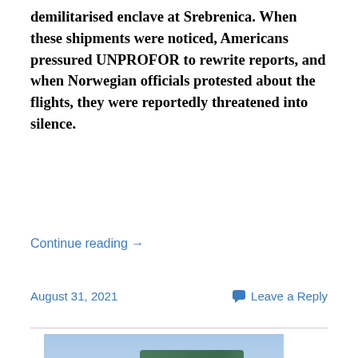demilitarised enclave at Srebrenica. When these shipments were noticed, Americans pressured UNPROFOR to rewrite reports, and when Norwegian officials protested about the flights, they were reportedly threatened into silence.
Continue reading →
August 31, 2021
Leave a Reply
[Figure (photo): Photo of people at what appears to be a memorial or monument. A man in a dark suit is bowing his head in front of a large green marble monument with Arabic script and an arch design carved into it. Crowds of people are visible in the background.]